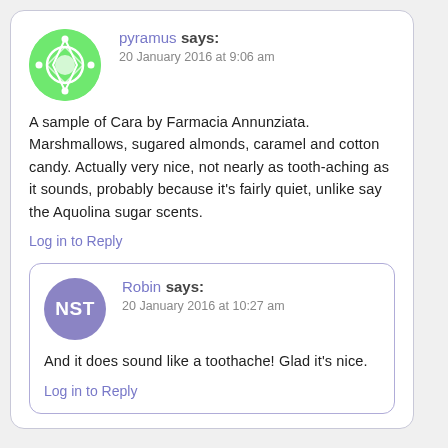[Figure (illustration): Green circular avatar with white geometric/floral pattern for user pyramus]
pyramus says:
20 January 2016 at 9:06 am
A sample of Cara by Farmacia Annunziata. Marshmallows, sugared almonds, caramel and cotton candy. Actually very nice, not nearly as tooth-aching as it sounds, probably because it's fairly quiet, unlike say the Aquolina sugar scents.
Log in to Reply
[Figure (illustration): Purple circular avatar with white letters NST for user Robin]
Robin says:
20 January 2016 at 10:27 am
And it does sound like a toothache! Glad it's nice.
Log in to Reply